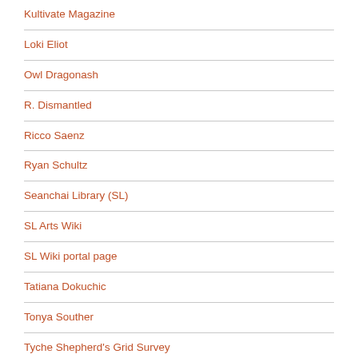Kultivate Magazine
Loki Eliot
Owl Dragonash
R. Dismantled
Ricco Saenz
Ryan Schultz
Seanchai Library (SL)
SL Arts Wiki
SL Wiki portal page
Tatiana Dokuchic
Tonya Souther
Tyche Shepherd's Grid Survey